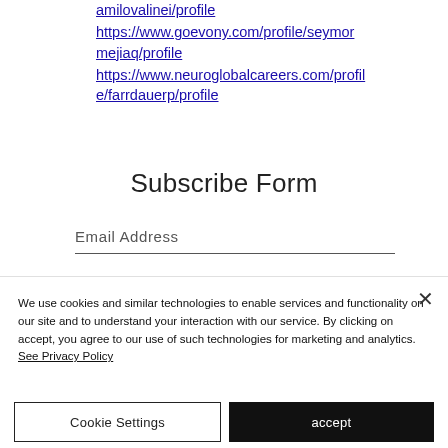https://www.milovalinei/profile amilovalinei/profile
https://www.goevony.com/profile/seymormejiaq/profile
https://www.neuroglobalcareers.com/profile/farrdauerp/profile
Subscribe Form
Email Address
We use cookies and similar technologies to enable services and functionality on our site and to understand your interaction with our service. By clicking on accept, you agree to our use of such technologies for marketing and analytics. See Privacy Policy
Cookie Settings
accept